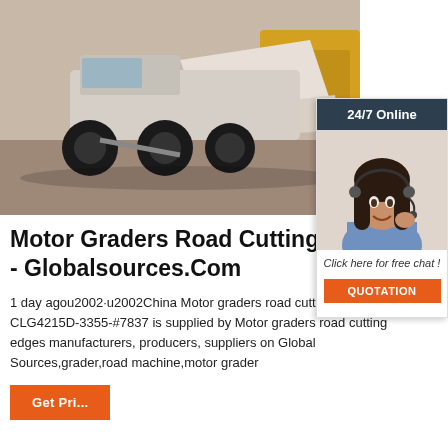[Figure (photo): Motor graders and road machinery parked on gravel/dirt surface, showing large yellow and white construction vehicles.]
[Figure (photo): 24/7 Online customer service widget with woman wearing headset smiling, with 'Click here for free chat!' text and orange QUOTATION button.]
Motor Graders Road Cutting - Globalsources.Com
1 day agou2002·u2002China Motor graders road cutting edges CLG4215D-3355-#7837 is supplied by Motor graders road cutting edges manufacturers, producers, suppliers on Global Sources,grader,road machine,motor grader